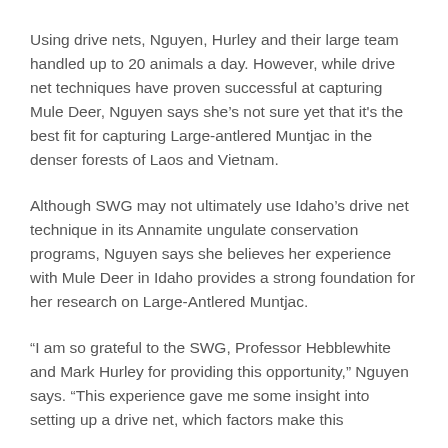Using drive nets, Nguyen, Hurley and their large team handled up to 20 animals a day. However, while drive net techniques have proven successful at capturing Mule Deer, Nguyen says she's not sure yet that it's the best fit for capturing Large-antlered Muntjac in the denser forests of Laos and Vietnam.
Although SWG may not ultimately use Idaho's drive net technique in its Annamite ungulate conservation programs, Nguyen says she believes her experience with Mule Deer in Idaho provides a strong foundation for her research on Large-Antlered Muntjac.
“I am so grateful to the SWG, Professor Hebblewhite and Mark Hurley for providing this opportunity,” Nguyen says. “This experience gave me some insight into setting up a drive net, which factors make this